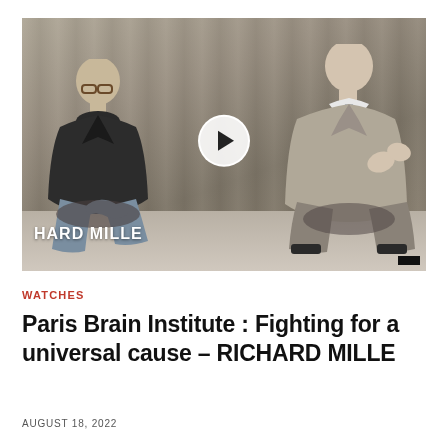[Figure (photo): Video thumbnail showing two men seated in chairs having a conversation in a room with grey curtain background. A play button overlay is centered on the image. Text 'HARD MILLE' watermark appears in bottom left. A small black bar appears in bottom right corner.]
WATCHES
Paris Brain Institute : Fighting for a universal cause – RICHARD MILLE
AUGUST 18, 2022